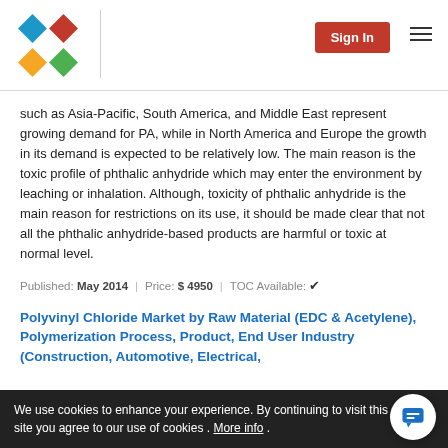Sign In
such as Asia-Pacific, South America, and Middle East represent growing demand for PA, while in North America and Europe the growth in its demand is expected to be relatively low. The main reason is the toxic profile of phthalic anhydride which may enter the environment by leaching or inhalation. Although, toxicity of phthalic anhydride is the main reason for restrictions on its use, it should be made clear that not all the phthalic anhydride-based products are harmful or toxic at normal level.
Published: May 2014 | Price: $ 4950 | TOC Available: ✔
Polyvinyl Chloride Market by Raw Material (EDC & Acetylene), Polymerization Process, Product, End User Industry (Construction, Automotive, Electrical,
Polyvinyl Chloride (PVC) is one of the most widely used pl... It is produced by polymerizing vinyl chloride monomers. PVC... an amorphous structure with polar chlorine atoms and possesses...
We use cookies to enhance your experience. By continuing to visit this site you agree to our use of cookies . More info .